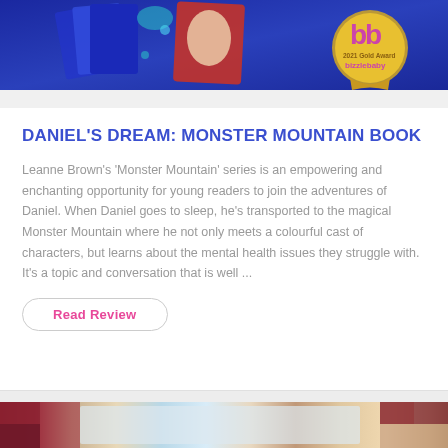[Figure (photo): Top banner image showing children's book covers and a Bizzie Baby 2021 Gold Award badge on a blue background]
DANIEL'S DREAM: MONSTER MOUNTAIN BOOK
Leanne Brown's 'Monster Mountain' series is an empowering and enchanting opportunity for young readers to join the adventures of Daniel. When Daniel goes to sleep, he's transported to the magical Monster Mountain where he not only meets a colourful cast of characters, but learns about the mental health issues they struggle with. It's a topic and conversation that is well ...
Read Review
[Figure (photo): Bottom partial image showing a colorful children's book spread with illustrated characters on a light background with red and checkered accents]